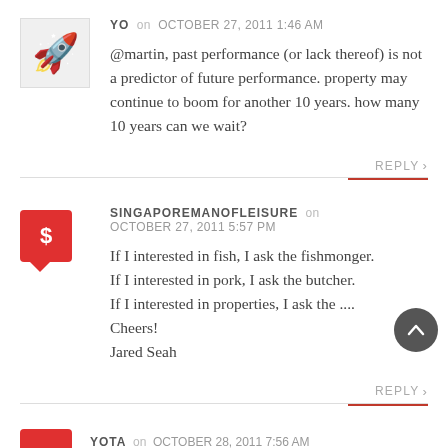YO on OCTOBER 27, 2011 1:46 AM
@martin, past performance (or lack thereof) is not a predictor of future performance. property may continue to boom for another 10 years. how many 10 years can we wait?
REPLY >
SINGAPOREMANOFLEISURE on OCTOBER 27, 2011 5:57 PM
If I interested in fish, I ask the fishmonger.
If I interested in pork, I ask the butcher.
If I interested in properties, I ask the ....
Cheers!
Jared Seah
REPLY >
YOTA on OCTOBER 28, 2011 7:56 AM